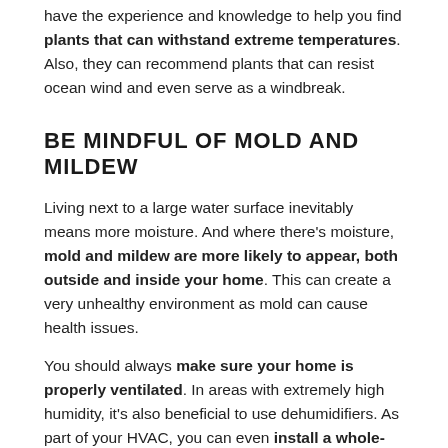have the experience and knowledge to help you find plants that can withstand extreme temperatures. Also, they can recommend plants that can resist ocean wind and even serve as a windbreak.
BE MINDFUL OF MOLD AND MILDEW
Living next to a large water surface inevitably means more moisture. And where there's moisture, mold and mildew are more likely to appear, both outside and inside your home. This can create a very unhealthy environment as mold can cause health issues.
You should always make sure your home is properly ventilated. In areas with extremely high humidity, it's also beneficial to use dehumidifiers. As part of your HVAC, you can even install a whole-house dehumidifier.
If you do notice signs of mold or mildew, you should contact a...